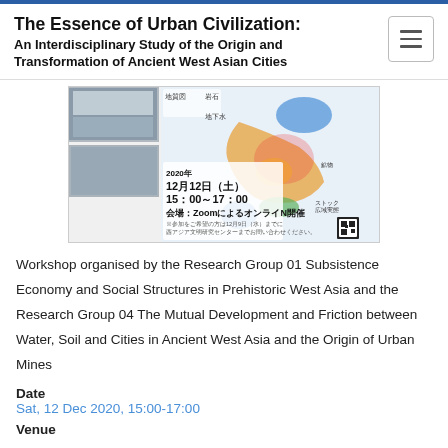The Essence of Urban Civilization: An Interdisciplinary Study of the Origin and Transformation of Ancient West Asian Cities
[Figure (photo): Japanese event flyer showing a map of Japan with color shading, photos of a conference room, text announcing a Zoom online event on December 12, 2020 15:00-17:00, with logos of organizing institutions.]
Workshop organised by the Research Group 01 Subsistence Economy and Social Structures in Prehistoric West Asia and the Research Group 04 The Mutual Development and Friction between Water, Soil and Cities in Ancient West Asia and the Origin of Urban Mines
Date
Sat, 12 Dec 2020, 15:00-17:00
Venue